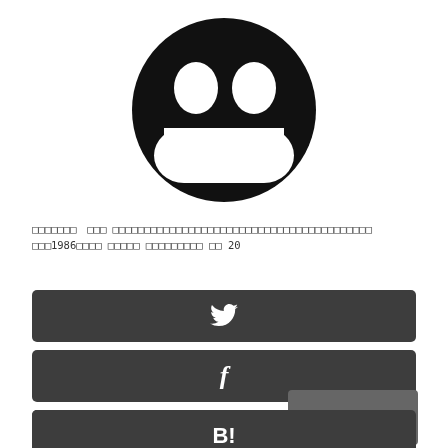[Figure (illustration): Black smiley face emoji with large round eyes and wide open mouth grin on white background]
□□□□□□□　□□□ □□□□□□□□□□□□□□□□□□□□□□□□□□□□□□□□□□□□□□□□□ □□□1986□□□□ □□□□□ □□□□□□□□□ □□ 20
[Figure (other): Twitter share button - dark rounded rectangle with white Twitter bird icon]
[Figure (other): Facebook share button - dark rounded rectangle with white f icon]
[Figure (other): Google+ share button - dark rounded rectangle with white g+ icon]
[Figure (other): Hatena bookmark button - dark rounded rectangle with white B! icon]
PAGE TOP